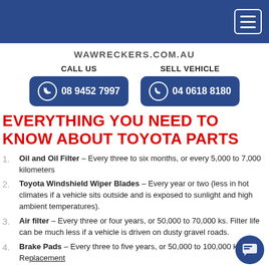WAWRECKERS.COM.AU
CALL US | 08 9452 7997   SELL VEHICLE | 04 0618 8180
EVERYTHING YOU NEED TO KNOW ABOUT TOYOTA PARTS
Oil and Oil Filter – Every three to six months, or every 5,000 to 7,000 kilometers
Toyota Windshield Wiper Blades – Every year or two (less in hot climates if a vehicle sits outside and is exposed to sunlight and high ambient temperatures).
Air filter – Every three or four years, or 50,000 to 70,000 ks. Filter life can be much less if a vehicle is driven on dusty gravel roads.
Brake Pads – Every three to five years, or 50,000 to 100,000 ks. Replacement